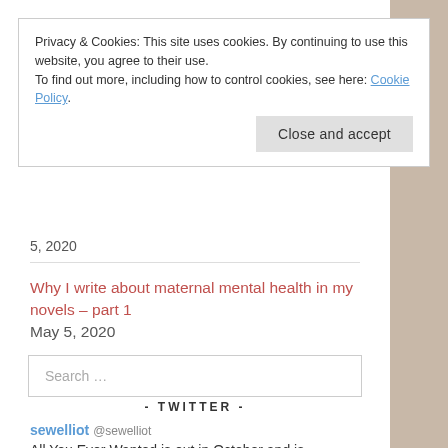Privacy & Cookies: This site uses cookies. By continuing to use this website, you agree to their use.
To find out more, including how to control cookies, see here: Cookie Policy.
Close and accept
5, 2020
Why I write about maternal mental health in my novels – part 1 May 5, 2020
Search …
- TWITTER -
sewelliot @sewelliot
All You Ever Wanted is out in October and is available to request on NetGalley now!! https://t.co/GKCzdCXO6i